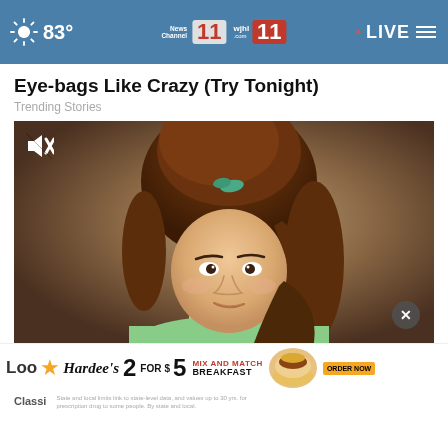83° News Channel 11 wjhl.com 11 LIVE
Eye-bags Like Crazy (Try Tonight)
Trending Stories
[Figure (photo): Vintage color portrait photo of a young woman with a large bouffant updo hairstyle with a green bow, wearing a light green top, looking slightly to the side. A mute icon appears in the upper left corner and a close (X) button in the lower right.]
Loo Hardees 2 for $5 MIX AND MATCH BREAKFAST ORDER NOW
Classi